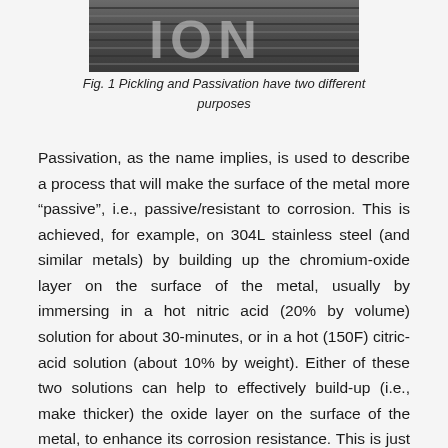[Figure (photo): Close-up photo of metal surface with text showing partial letters 'ION', suggesting a sign or label related to Pickling and Passivation]
Fig. 1 Pickling and Passivation have two different purposes
Passivation, as the name implies, is used to describe a process that will make the surface of the metal more “passive”, i.e., passive/resistant to corrosion. This is achieved, for example, on 304L stainless steel (and similar metals) by building up the chromium-oxide layer on the surface of the metal, usually by immersing in a hot nitric acid (20% by volume) solution for about 30-minutes, or in a hot (150F) citric-acid solution (about 10% by weight). Either of these two solutions can help to effectively build-up (i.e., make thicker) the oxide layer on the surface of the metal, to enhance its corrosion resistance. This is just the opposite of what someone would be trying to do when they are “prepping”